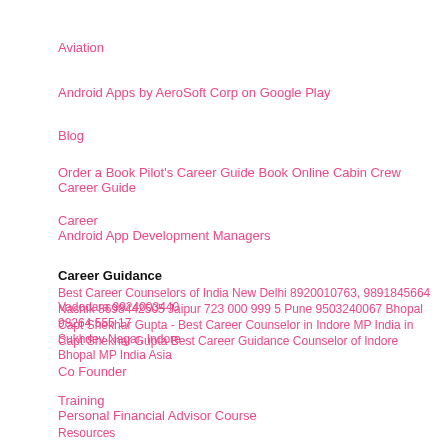Aviation
Android Apps by AeroSoft Corp on Google Play
Blog
Order a Book Pilot's Career Guide Book Online Cabin Crew Career Guide
Career
Android App Development Managers
Career Guidance
Best Career Counselors of India New Delhi 8920010763, 9891845664 Vadodara 9924003440
Nashik 8698442505 Jaipur 723 000 999 5 Pune 9503240067 Bhopal 98264 555 17
Capt Shekhar Gupta - Best Career Counselor in Indore MP India in Sukhdev Nagar, Indore
Capt Shekhar Gupta Best Career Guidance Counselor of Indore Bhopal MP India Asia
Co Founder
Training
Personal Financial Advisor Course
Resources
Commercial Pilot Program